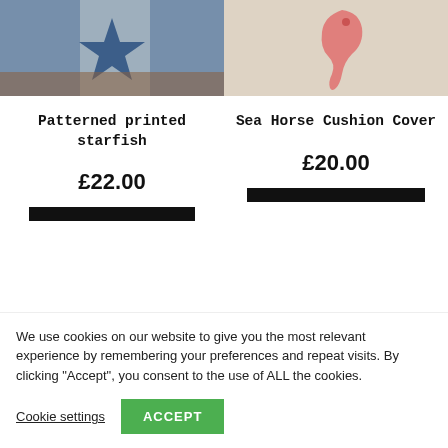[Figure (photo): Photo of a blue patterned starfish cushion on a wooden surface]
[Figure (photo): Photo of a white cushion with a pink seahorse embroidery on a textured surface]
Patterned printed starfish
Sea Horse Cushion Cover
£22.00
£20.00
We use cookies on our website to give you the most relevant experience by remembering your preferences and repeat visits. By clicking “Accept”, you consent to the use of ALL the cookies.
Cookie settings
ACCEPT